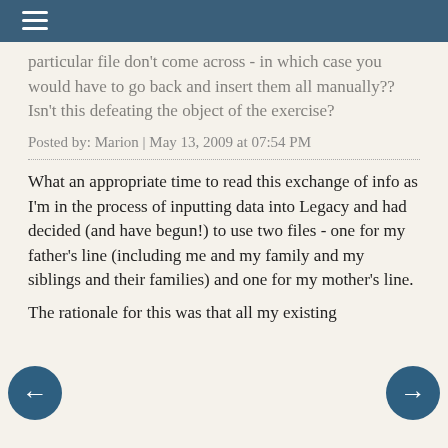≡
particular file don't come across - in which case you would have to go back and insert them all manually?? Isn't this defeating the object of the exercise?
Posted by: Marion | May 13, 2009 at 07:54 PM
What an appropriate time to read this exchange of info as I'm in the process of inputting data into Legacy and had decided (and have begun!) to use two files - one for my father's line (including me and my family and my siblings and their families) and one for my mother's line.
The rationale for this was that all my existing